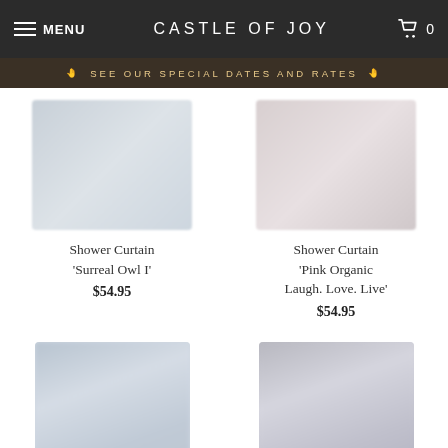MENU | CASTLE OF JOY | 0
SEE OUR SPECIAL DATES AND RATES
Shower Curtain 'Surreal Owl I'
$54.95
Shower Curtain 'Pink Organic Laugh. Love. Live'
$54.95
Shower Curtain 'Organic in Blue'
Shower Curtain 'Black and White